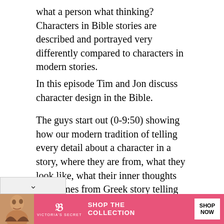what a person what thinking? Characters in Bible stories are described and portrayed very differently compared to characters in modern stories. In this episode Tim and Jon discuss character design in the Bible.
The guys start out (0-9:50) showing how our modern tradition of telling every detail about a character in a story, where they are from, what they look like, what their inner thoughts are, comes from Greek story telling tradition. This is exact opposite of ancient Jewish
[Figure (screenshot): Victoria's Secret advertisement banner at the bottom of the page, showing a woman's photo on the left, VS logo in center-left, 'SHOP THE COLLECTION' text in middle, and 'SHOP NOW' white button on the right, all on a pink/magenta background.]